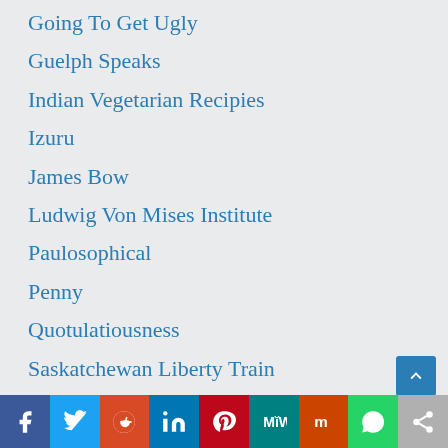Going To Get Ugly
Guelph Speaks
Indian Vegetarian Recipies
Izuru
James Bow
Ludwig Von Mises Institute
Paulosophical
Penny
Quotulatiousness
Saskatchewan Liberty Train
Suns Of Stone